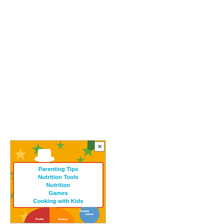[Figure (illustration): Advertising banner with yellow/orange background covered in green stars. A cartoon monkey character wearing a white chef hat and chef coat holds a cooking spoon. Below the character is a white box with red border listing menu items in teal/cyan bold text: 'Parenting Tips', 'Nutrition Tools', 'Nutrition Games', 'Cooking with Kids'. At the bottom is a partial pie chart showing food groups including Fruits and Grains sections. An 'X' close button appears in top right corner and a green bookmark ribbon near it.]